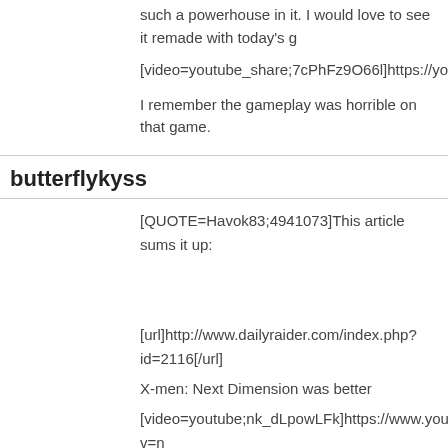such a powerhouse in it. I would love to see it remade with today's g
[video=youtube_share;7cPhFz9O66l]https://youtu.be/7cPhFz9O66l
I remember the gameplay was horrible on that game.
butterflykyss
[QUOTE=Havok83;4941073]This article sums it up:
[url]http://www.dailyraider.com/index.php?id=2116[/url]
X-men: Next Dimension was better
[video=youtube;nk_dLpowLFk]https://www.youtube.com/watch?v=n
I wish we got a sequel to this or a fighter made in its style.
[IMG]https://xboxmedia.ign.com/xbox/image/Storm_460_03.jpg?fit=bounds&width=640&height=480[/IMG][/QUOTE]
[QUOTE=LordAllMIghty;4941077]I remember the gameplay was ho [/QUOTE]